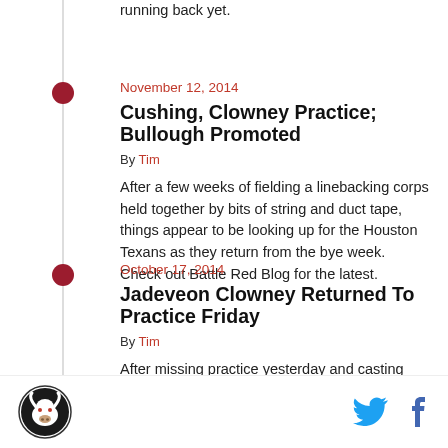running back yet.
November 12, 2014
Cushing, Clowney Practice; Bullough Promoted
By Tim
After a few weeks of fielding a linebacking corps held together by bits of string and duct tape, things appear to be looking up for the Houston Texans as they return from the bye week. Check out Battle Red Blog for the latest.
October 17, 2014
Jadeveon Clowney Returned To Practice Friday
By Tim
After missing practice yesterday and casting